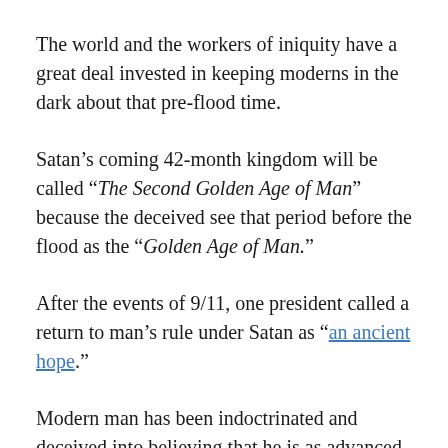The world and the workers of iniquity have a great deal invested in keeping moderns in the dark about that pre-flood time.
Satan's coming 42-month kingdom will be called “The Second Golden Age of Man” because the deceived see that period before the flood as the “Golden Age of Man.”
After the events of 9/11, one president called a return to man’s rule under Satan as “an ancient hope.”
Modern man has been indoctrinated and deceived into believing that he is as advanced as man has ever been.